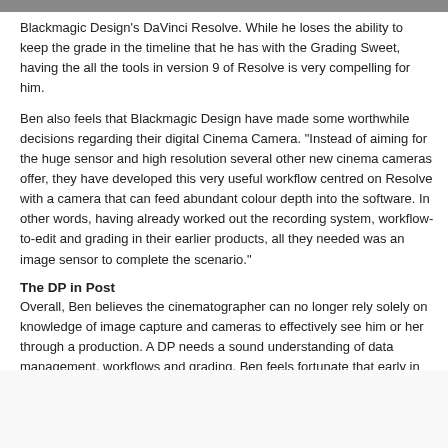Blackmagic Design's DaVinci Resolve. While he loses the ability to keep the grade in the timeline that he has with the Grading Sweet, having the all the tools in version 9 of Resolve is very compelling for him.
Ben also feels that Blackmagic Design have made some worthwhile decisions regarding their digital Cinema Camera. "Instead of aiming for the huge sensor and high resolution several other new cinema cameras offer, they have developed this very useful workflow centred on Resolve with a camera that can feed abundant colour depth into the software. In other words, having already worked out the recording system, workflow-to-edit and grading in their earlier products, all they needed was an image sensor to complete the scenario."
The DP in Post
Overall, Ben believes the cinematographer can no longer rely solely on knowledge of image capture and cameras to effectively see him or her through a production. A DP needs a sound understanding of data management, workflows and grading. Ben feels fortunate that early in his career he got a job in television that required him to do both photography and editing. He loved taking projects from lighting and camera set ups on set to the finished product, and this ability has proven just as viable on long form projects. Faced with a larger scale production, he admits that it would be hard to have to delegate.